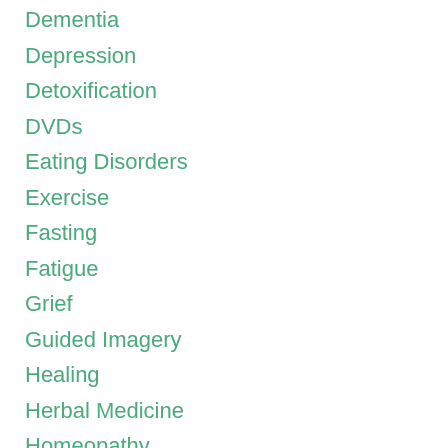Dementia
Depression
Detoxification
DVDs
Eating Disorders
Exercise
Fasting
Fatigue
Grief
Guided Imagery
Healing
Herbal Medicine
Homeopathy
Hyperthermia Therapy
Hypnotherapy
Juice Fasting